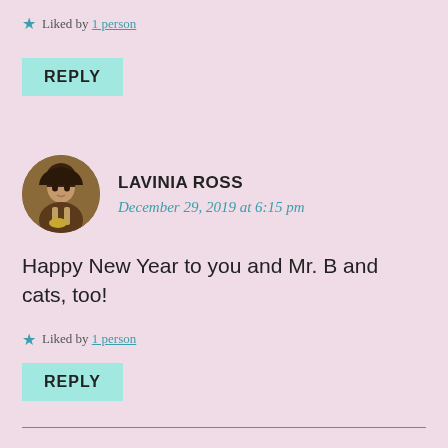★ Liked by 1 person
REPLY
[Figure (photo): Circular avatar photo of Lavinia Ross, a woman with long dark hair holding a guitar award]
LAVINIA ROSS
December 29, 2019 at 6:15 pm
Happy New Year to you and Mr. B and cats, too!
★ Liked by 1 person
REPLY